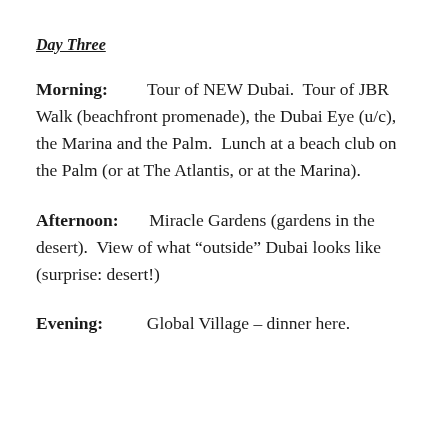Day Three
Morning: Tour of NEW Dubai. Tour of JBR Walk (beachfront promenade), the Dubai Eye (u/c), the Marina and the Palm. Lunch at a beach club on the Palm (or at The Atlantis, or at the Marina).
Afternoon: Miracle Gardens (gardens in the desert). View of what “outside” Dubai looks like (surprise: desert!)
Evening: Global Village – dinner here.